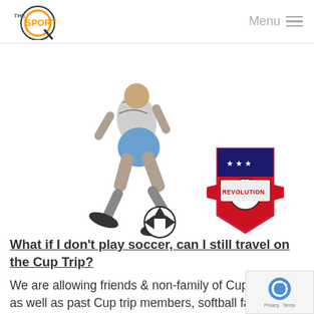[Figure (logo): The Sport Q logo with circular orange and black design and text 'THE SPORT Q']
Menu ≡
[Figure (photo): Soccer player kicking a ball, black and white photo, with SA Revolution soccer club logo shield on the right]
What if I don't play soccer, can I still travel on the Cup Trip?
We are allowing friends & non-family of Cup Athletes, as well as past Cup trip members, softball fans, and anyone who wishes to go on this